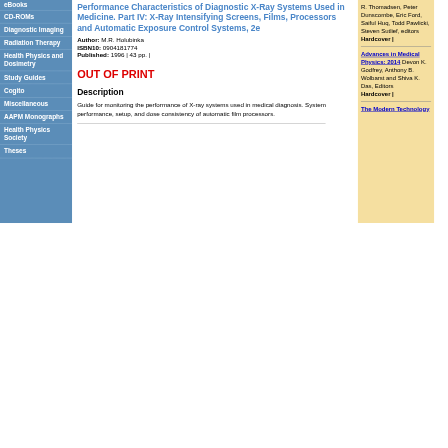eBooks
CD-ROMs
Diagnostic Imaging
Radiation Therapy
Health Physics and Dosimetry
Study Guides
Cogito
Miscellaneous
AAPM Monographs
Health Physics Society
Theses
Performance Characteristics of Diagnostic X-Ray Systems Used in Medicine. Part IV: X-Ray Intensifying Screens, Films, Processors and Automatic Exposure Control Systems, 2e
Author:  M.R. Holubinka
ISBN10:  0904181774
Published:  1996 | 43 pp. |
OUT OF PRINT
Description
Guide for monitoring the performance of X-ray systems used in medical diagnosis. System performance, setup, and dose consistency of automatic film processors.
Advances in Medical Physics: 2014
Devon K. Godfrey, Anthony B. Wolbarst and Shiva K. Das, Editors
Hardcover |
The Modern Technology